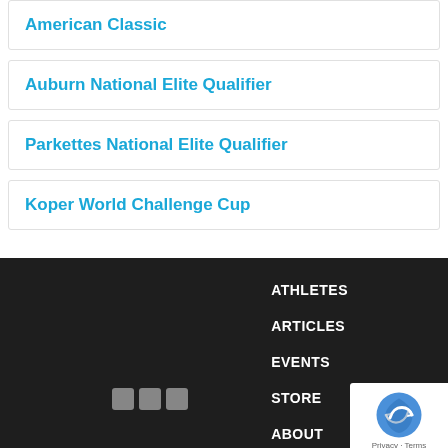American Classic
Auburn National Elite Qualifier
Parkettes National Elite Qualifier
Koper World Challenge Cup
ATHLETES ARTICLES EVENTS STORE ABOUT